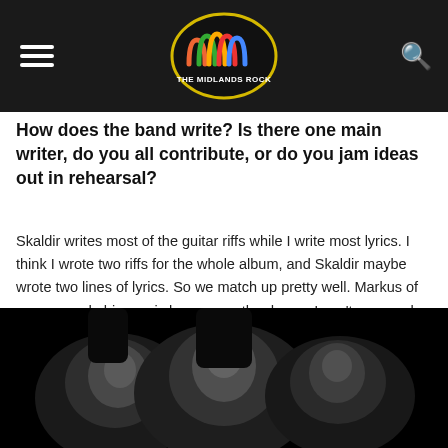The Midlands Rock
How does the band write? Is there one main writer, do you all contribute, or do you jam ideas out in rehearsal?
Skaldir writes most of the guitar riffs while I write most lyrics. I think I wrote two riffs for the whole album, and Skaldir maybe wrote two lines of lyrics. So we match up pretty well. Markus of course made his magic happen on the drums; I can't say much about his process other than that it's amazing drumming.
[Figure (photo): Black and white photograph of three band members' faces against a dark background, lit from the front.]